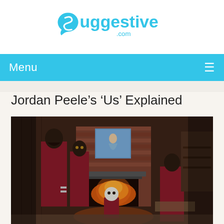[Figure (logo): Suggestive.com logo in cyan/blue color with speech bubble icon]
Menu ≡
Jordan Peele's ‘Us’ Explained
[Figure (photo): Scene from Jordan Peele's Us movie showing four figures in red jumpsuits standing in a living room with a lit fireplace, brick wall, and a painting above the mantle]